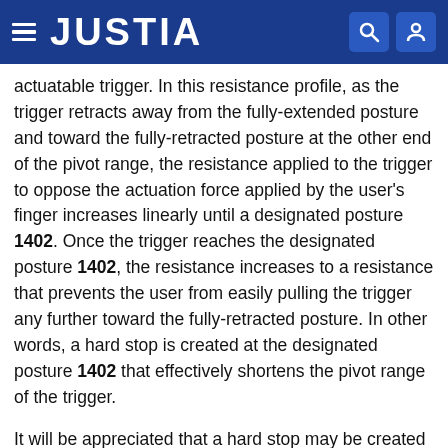JUSTIA
actuatable trigger. In this resistance profile, as the trigger retracts away from the fully-extended posture and toward the fully-retracted posture at the other end of the pivot range, the resistance applied to the trigger to oppose the actuation force applied by the user's finger increases linearly until a designated posture 1402. Once the trigger reaches the designated posture 1402, the resistance increases to a resistance that prevents the user from easily pulling the trigger any further toward the fully-retracted posture. In other words, a hard stop is created at the designated posture 1402 that effectively shortens the pivot range of the trigger.
It will be appreciated that a hard stop may be created at any suitable posture within the pivot range of the trigger in order to create any desired trigger pull length. The shorter pivot range created by the resistance profile